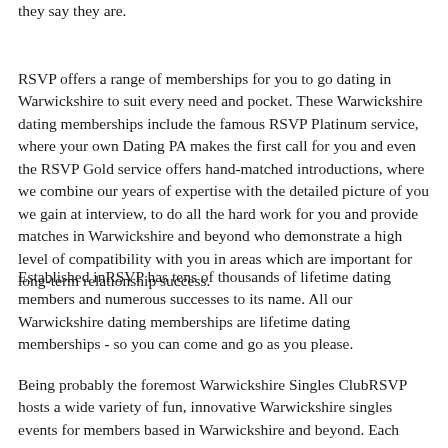they say they are.
RSVP offers a range of memberships for you to go dating in Warwickshire to suit every need and pocket. These Warwickshire dating memberships include the famous RSVP Platinum service, where your own Dating PA makes the first call for you and even the RSVP Gold service offers hand-matched introductions, where we combine our years of expertise with the detailed picture of you we gain at interview, to do all the hard work for you and provide matches in Warwickshire and beyond who demonstrate a high level of compatibility with you in areas which are important for long-term relationship success.
Established inRSVP has tens of thousands of lifetime dating members and numerous successes to its name. All our Warwickshire dating memberships are lifetime dating memberships - so you can come and go as you please.
Being probably the foremost Warwickshire Singles ClubRSVP hosts a wide variety of fun, innovative Warwickshire singles events for members based in Warwickshire and beyond. Each quarter we issue a full colour Singles Events Calendar full of exciting events it...